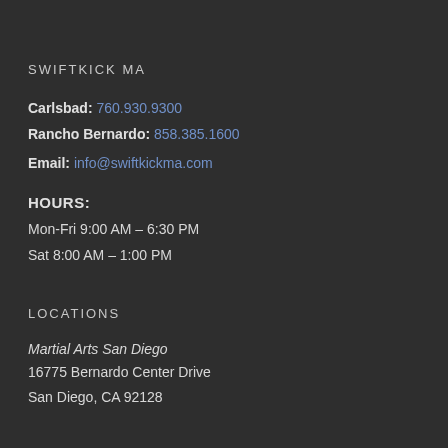SWIFTKICK MA
Carlsbad: 760.930.9300
Rancho Bernardo: 858.385.1600
Email: info@swiftkickma.com
HOURS:
Mon-Fri 9:00 AM – 6:30 PM
Sat 8:00 AM – 1:00 PM
LOCATIONS
Martial Arts San Diego
16775 Bernardo Center Drive
San Diego, CA 92128